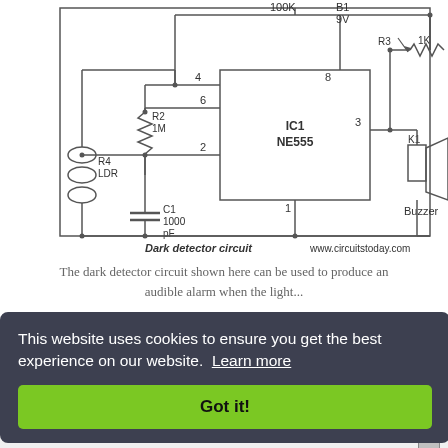[Figure (circuit-diagram): Dark detector circuit schematic featuring IC1 NE555 timer, R2 1M, R4 LDR, C1 1000pF, R3 1K, B1 9V battery, K1 Buzzer. Components labeled with pin numbers 1,2,3,4,6,8. URL: www.circuitstoday.com]
The dark detector circuit shown here can be used to produce an audible alarm when the light...
This website uses cookies to ensure you get the best experience on our website. Learn more
Got it!